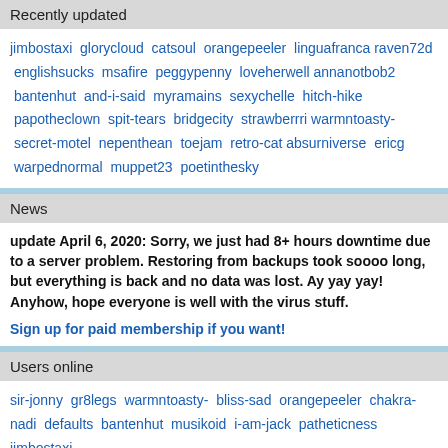Recently updated
jimbostaxi glorycloud catsoul orangepeeler linguafranca raven72d englishsucks msafire peggypenny loveherwell annanotbob2 bantenhut and-i-said myramains sexychelle hitch-hike papotheclown spit-tears bridgecity strawberrri warmntoasty- secret-motel nepenthean toejam retro-cat absurniverse ericg warpednormal muppet23 poetinthesky
News
update April 6, 2020: Sorry, we just had 8+ hours downtime due to a server problem. Restoring from backups took soooo long, but everything is back and no data was lost. Ay yay yay! Anyhow, hope everyone is well with the virus stuff.
Sign up for paid membership if you want!
Users online
sir-jonny gr8legs warmntoasty- bliss-sad orangepeeler chakra-nadi defaults bantenhut musikoid i-am-jack patheticness jimbostaxi